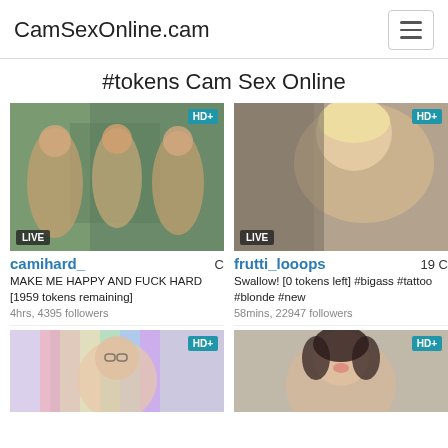CamSexOnline.cam
#tokens Cam Sex Online
[Figure (photo): Live webcam thumbnail showing three people, LIVE badge, HD+ badge]
camihard_   C
MAKE ME HAPPY AND FUCK HARD [1959 tokens remaining]
4hrs, 4395 followers
[Figure (photo): Live webcam thumbnail showing a blonde person, LIVE badge, HD+ badge]
frutti_looops   19 C
Swallow! [0 tokens left] #bigass #tattoo #blonde #new
58mins, 22947 followers
[Figure (photo): Live webcam thumbnail showing a person with glasses, HD+ badge]
[Figure (photo): Live webcam thumbnail showing a dark-haired person, HD+ badge]